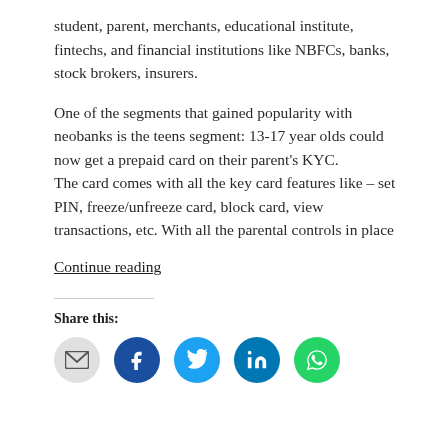student, parent, merchants, educational institute, fintechs, and financial institutions like NBFCs, banks, stock brokers, insurers.
One of the segments that gained popularity with neobanks is the teens segment: 13-17 year olds could now get a prepaid card on their parent's KYC.
The card comes with all the key card features like – set PIN, freeze/unfreeze card, block card, view transactions, etc. With all the parental controls in place
Continue reading
Share this: